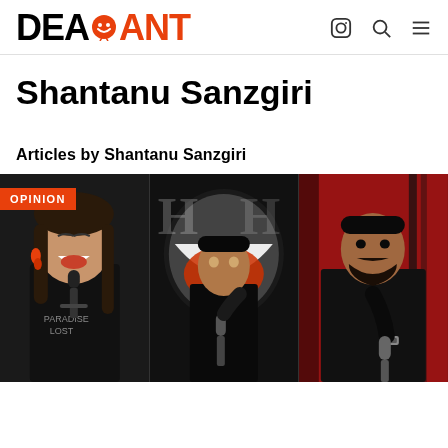DEAD ANT
Shantanu Sanzgiri
Articles by Shantanu Sanzgiri
[Figure (photo): Three comedians/performers: a laughing woman with red earrings and microphone on left, a man holding microphone on stage in center, a man holding microphone against red background on right. OPINION badge overlaid top-left.]